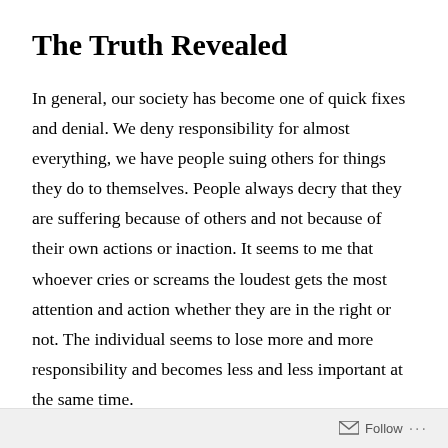The Truth Revealed
In general, our society has become one of quick fixes and denial. We deny responsibility for almost everything, we have people suing others for things they do to themselves. People always decry that they are suffering because of others and not because of their own actions or inaction. It seems to me that whoever cries or screams the loudest gets the most attention and action whether they are in the right or not. The individual seems to lose more and more responsibility and becomes less and less important at the same time.
Follow